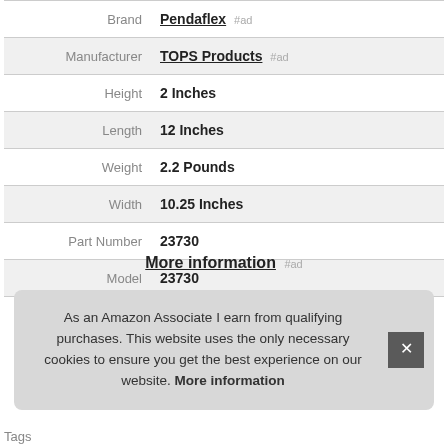| Attribute | Value |
| --- | --- |
| Brand | Pendaflex #ad |
| Manufacturer | TOPS Products #ad |
| Height | 2 Inches |
| Length | 12 Inches |
| Weight | 2.2 Pounds |
| Width | 10.25 Inches |
| Part Number | 23730 |
| Model | 23730 |
More information #ad
As an Amazon Associate I earn from qualifying purchases. This website uses the only necessary cookies to ensure you get the best experience on our website. More information